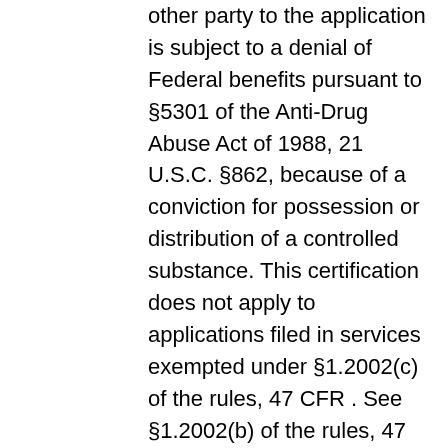other party to the application is subject to a denial of Federal benefits pursuant to §5301 of the Anti-Drug Abuse Act of 1988, 21 U.S.C. §862, because of a conviction for possession or distribution of a controlled substance. This certification does not apply to applications filed in services exempted under §1.2002(c) of the rules, 47 CFR . See §1.2002(b) of the rules, 47 CFR